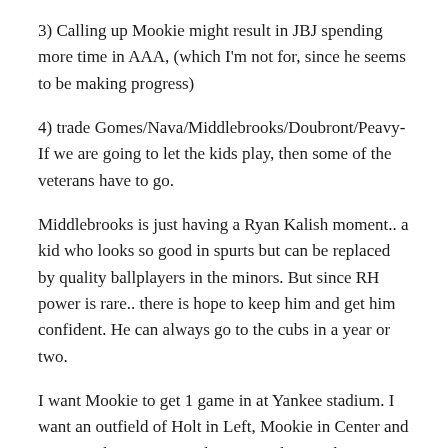3) Calling up Mookie might result in JBJ spending more time in AAA, (which I'm not for, since he seems to be making progress)
4) trade Gomes/Nava/Middlebrooks/Doubront/Peavy- If we are going to let the kids play, then some of the veterans have to go.
Middlebrooks is just having a Ryan Kalish moment.. a kid who looks so good in spurts but can be replaced by quality ballplayers in the minors. But since RH power is rare.. there is hope to keep him and get him confident. He can always go to the cubs in a year or two.
I want Mookie to get 1 game in at Yankee stadium. I want an outfield of Holt in Left, Mookie in Center and JBJ in right. I want Mookie to start hitting the questions...